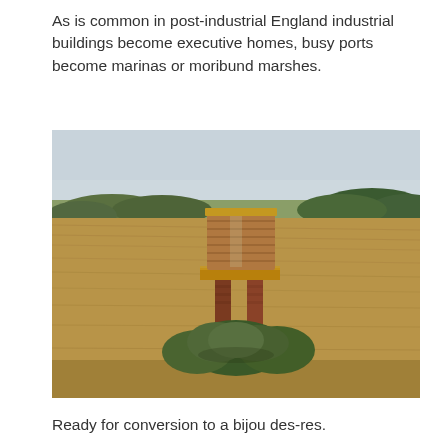As is common in post-industrial England industrial buildings become executive homes, busy ports become marinas or moribund marshes.
[Figure (photo): Photograph of an abandoned brick structure resembling a water tower or industrial pillar with a wide flat top, standing alone in a harvested field. Overgrown bushes surround its base. Rolling ploughed fields and a tree line are visible in the background under an overcast sky.]
Ready for conversion to a bijou des-res.